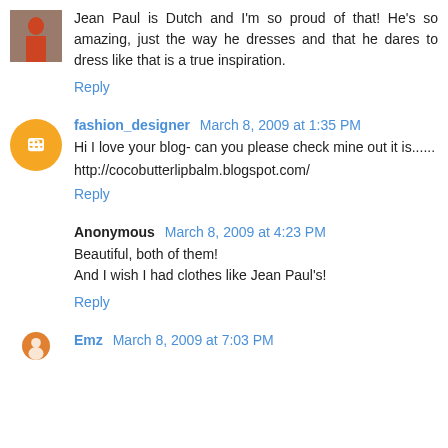Jean Paul is Dutch and I'm so proud of that! He's so amazing, just the way he dresses and that he dares to dress like that is a true inspiration.
Reply
fashion_designer March 8, 2009 at 1:35 PM
Hi I love your blog- can you please check mine out it is......
http://cocobutterlipbalm.blogspot.com/
Reply
Anonymous March 8, 2009 at 4:23 PM
Beautiful, both of them!
And I wish I had clothes like Jean Paul's!
Reply
Emz March 8, 2009 at 7:03 PM